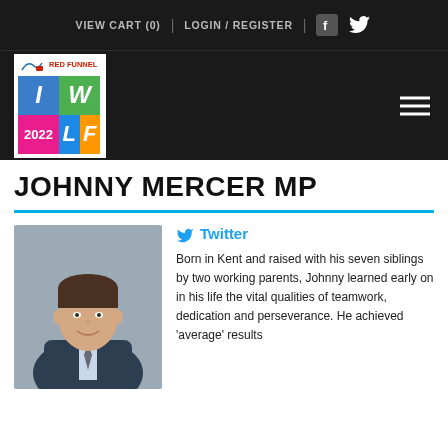VIEW CART (0)  |  LOGIN / REGISTER  |  [Facebook] [Twitter]
[Figure (logo): Red Funnel Isle of Wight Literary Festival 2022 logo with coloured grid squares showing I, W, 2022, L, F]
JOHNNY MERCER MP
[Figure (photo): Headshot of Johnny Mercer MP, a man in a dark suit and tie, smiling, against a grey background]
Twitter
Born in Kent and raised with his seven siblings by two working parents, Johnny learned early on in his life the vital qualities of teamwork, dedication and perseverance. He achieved 'average' results